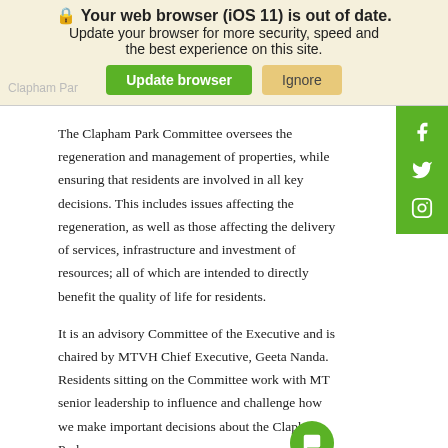Your web browser (iOS 11) is out of date. Update your browser for more security, speed and the best experience on this site.
The Clapham Park Committee oversees the regeneration and management of properties, while ensuring that residents are involved in all key decisions. This includes issues affecting the regeneration, as well as those affecting the delivery of services, infrastructure and investment of resources; all of which are intended to directly benefit the quality of life for residents.
It is an advisory Committee of the Executive and is chaired by MTVH Chief Executive, Geeta Nanda. Residents sitting on the Committee work with MTVH senior leadership to influence and challenge how we make important decisions about the Clapham Park